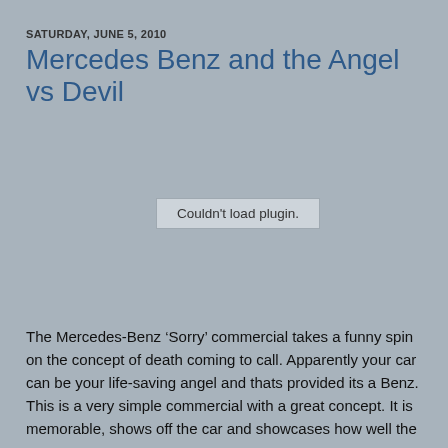SATURDAY, JUNE 5, 2010
Mercedes Benz and the Angel vs Devil
[Figure (other): Embedded video plugin area showing 'Couldn't load plugin.' error message on grey background]
The Mercedes-Benz ‘Sorry’ commercial takes a funny spin on the concept of death coming to call. Apparently your car can be your life-saving angel and thats provided its a Benz. This is a very simple commercial with a great concept. It is memorable, shows off the car and showcases how well the